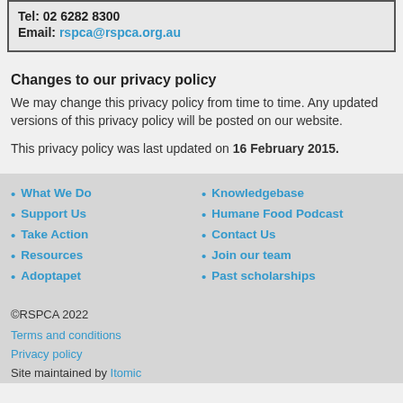Tel: 02 6282 8300
Email: rspca@rspca.org.au
Changes to our privacy policy
We may change this privacy policy from time to time. Any updated versions of this privacy policy will be posted on our website.
This privacy policy was last updated on 16 February 2015.
What We Do
Support Us
Take Action
Resources
Adoptapet
Knowledgebase
Humane Food Podcast
Contact Us
Join our team
Past scholarships
©RSPCA 2022
Terms and conditions
Privacy policy
Site maintained by Itomic